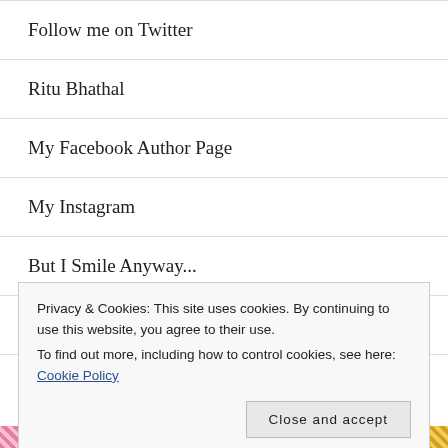Follow me on Twitter
Ritu Bhathal
My Facebook Author Page
My Instagram
But I Smile Anyway...
MY TikTok Account!
Privacy & Cookies: This site uses cookies. By continuing to use this website, you agree to their use.
To find out more, including how to control cookies, see here: Cookie Policy
Close and accept